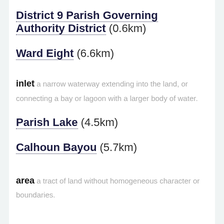District 9 Parish Governing Authority District (0.6km)
Ward Eight (6.6km)
inlet a narrow waterway extending into the land, or connecting a bay or lagoon with a larger body of water.
Parish Lake (4.5km)
Calhoun Bayou (5.7km)
area a tract of land without homogeneous character or boundaries.